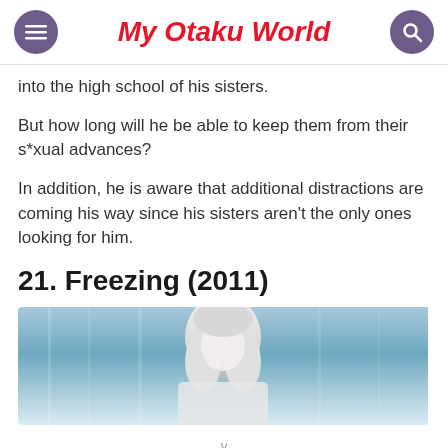My Otaku World
into the high school of his sisters.
But how long will he be able to keep them from their s*xual advances?
In addition, he is aware that additional distractions are coming his way since his sisters aren't the only ones looking for him.
21. Freezing (2011)
[Figure (illustration): Anime screenshot from Freezing (2011) showing a character with white/silver hair against a blue-tinted background]
∨